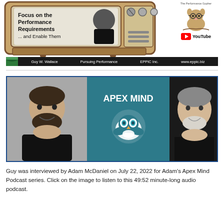[Figure (illustration): Cartoon vintage TV displaying 'Focus on the Performance Requirements ... and Enable Them' with a photo of Guy W. Wallace inside the screen. TV is drawn in brown/tan retro style.]
[Figure (logo): The Performance Gopher mascot logo and YouTube badge for EPPIC Inc.]
Guy W. Wallace   Pursuing Performance   EPPIC Inc.   www.eppic.biz
[Figure (photo): Apex Mind Podcast promotional image showing a man with beard on the left, the teal Apex Mind logo in the center, and Guy W. Wallace on the right.]
Guy was interviewed by Adam McDaniel on July 22, 2022 for Adam's Apex Mind Podcast series. Click on the image to listen to this 49:52 minute-long audio podcast.